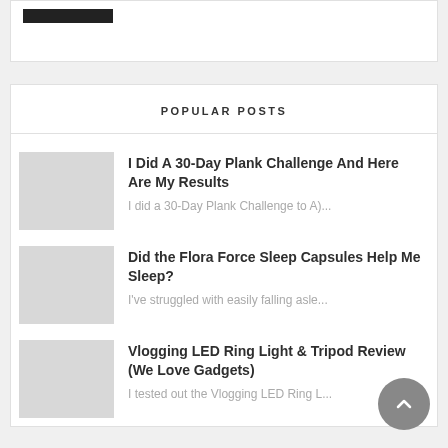[Figure (other): Top card with a black bar element partially visible]
POPULAR POSTS
I Did A 30-Day Plank Challenge And Here Are My Results
I did a 30-Day Plank Challenge to A)...
Did the Flora Force Sleep Capsules Help Me Sleep?
I've struggled with easily falling asle...
Vlogging LED Ring Light & Tripod Review (We Love Gadgets)
I tested out the Vlogging LED Ring L...